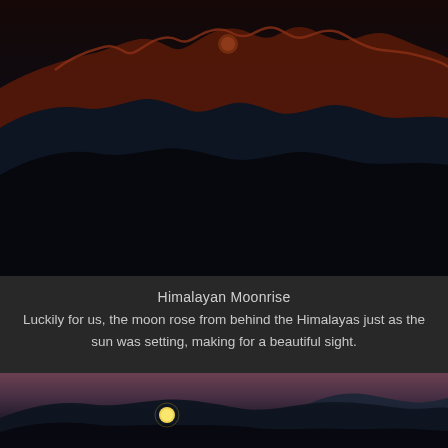[Figure (photo): Himalayan mountain range at dusk, dark silhouettes with reddish-orange illuminated peaks at the ridge line, dark sky above]
Himalayan Moonrise
Luckily for us, the moon rose from behind the Himalayas just as the sun was setting, making for a beautiful sight.
[Figure (photo): Twilight scene over mountain landscape with a bright full moon rising above the Himalayan range, purple-grey sky gradient, dark mountain silhouettes in foreground]